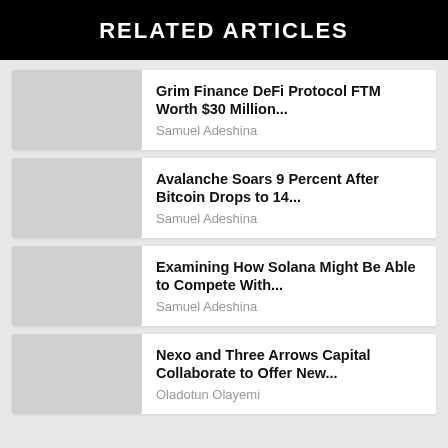RELATED ARTICLES
Grim Finance DeFi Protocol FTM Worth $30 Million... — Samuel Adeshina
Avalanche Soars 9 Percent After Bitcoin Drops to 14... — Samuel Adeshina
Examining How Solana Might Be Able to Compete With... — Samuel Adeshina
Nexo and Three Arrows Capital Collaborate to Offer New... — Oladotun Olayemi